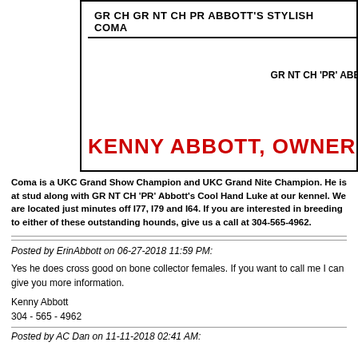[Figure (other): Advertisement box showing dog pedigree with text GR CH GR NT CH PR ABBOTT'S STYLISH COMA and GR NT CH 'PR' ABBOTT'S and KENNY ABBOTT, OWNER 261 M]
Coma is a UKC Grand Show Champion and UKC Grand Nite Champion. He is at stud along with GR NT CH 'PR' Abbott's Cool Hand Luke at our kennel. We are located just minutes off I77, I79 and I64. If you are interested in breeding to either of these outstanding hounds, give us a call at 304-565-4962.
Posted by ErinAbbott on 06-27-2018 11:59 PM:
Yes he does cross good on bone collector females. If you want to call me I can give you more information.
Kenny Abbott
304 - 565 - 4962
Posted by AC Dan on 11-11-2018 02:41 AM: